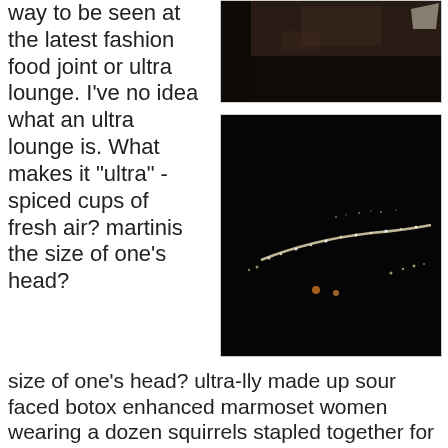way to be seen at the latest fashion food joint or ultra lounge. I've no idea what an ultra lounge is. What makes it "ultra" - spiced cups of fresh air? martinis the size of one's head?
[Figure (photo): A dark indoor photo, partially visible at the top of the right column.]
[Figure (photo): A nighttime outdoor scene showing distant lights in the darkness, possibly a city or landscape at night.]
ultra-lly made up sour faced botox enhanced marmoset women wearing a dozen squirrels stapled together for a fur coat? Probably a little of all, with strong dash of entitlement. Tom and I had made reservations for Washo - a trendy asian fusion joint. We got there a bit early and tried to even approach the hostess. We were